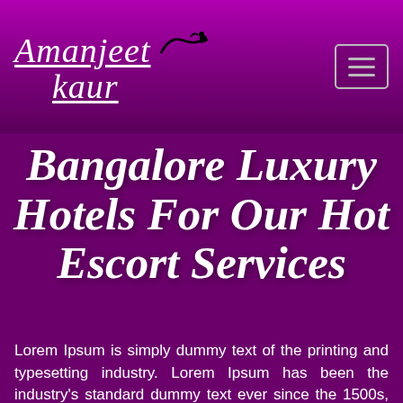Amanjeet kaur
Bangalore Luxury Hotels For Our Hot Escort Services
Lorem Ipsum is simply dummy text of the printing and typesetting industry. Lorem Ipsum has been the industry's standard dummy text ever since the 1500s, when an unknown printer took a galley of type and scrambled it to make a type specimen book. It has survived not only five centuries, but also the leap into